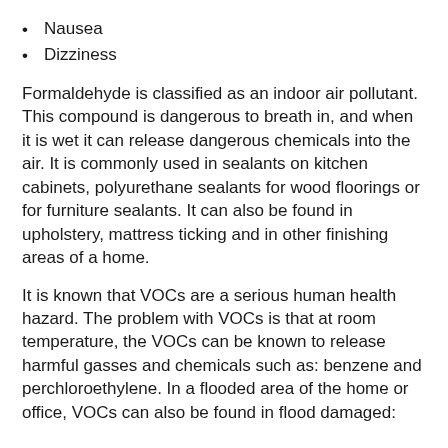Nausea
Dizziness
Formaldehyde is classified as an indoor air pollutant. This compound is dangerous to breath in, and when it is wet it can release dangerous chemicals into the air. It is commonly used in sealants on kitchen cabinets, polyurethane sealants for wood floorings or for furniture sealants. It can also be found in upholstery, mattress ticking and in other finishing areas of a home.
It is known that VOCs are a serious human health hazard. The problem with VOCs is that at room temperature, the VOCs can be known to release harmful gasses and chemicals such as: benzene and perchloroethylene. In a flooded area of the home or office, VOCs can also be found in flood damaged:
Office equipment and copiers
Office supplies (permanent markers)